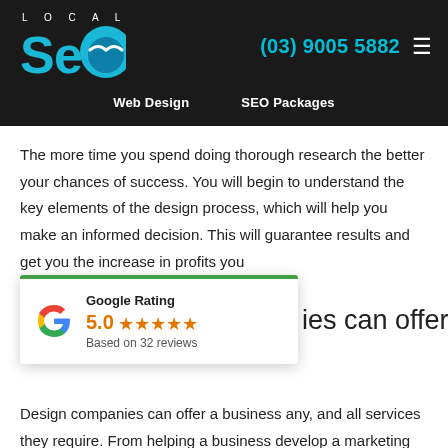[Figure (logo): Local SEO logo with circular blue icon and seagull motif, white LOCAL text above]
(03) 9005 5882
Web Design   SEO Packages
The more time you spend doing thorough research the better your chances of success. You will begin to understand the key elements of the design process, which will help you make an informed decision. This will guarantee results and get you the increase in profits you
[Figure (infographic): Google Rating popup widget showing 5.0 stars based on 32 reviews with Google G logo]
es can offer to your
Design companies can offer a business any, and all services they require. From helping a business develop a marketing ad or online video campaigns, to developing an online website; therefore,